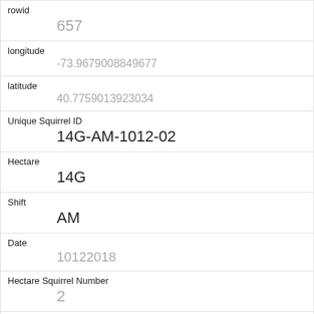| Field | Value |
| --- | --- |
| rowid | 657 |
| longitude | -73.9679008849677 |
| latitude | 40.7759013923034 |
| Unique Squirrel ID | 14G-AM-1012-02 |
| Hectare | 14G |
| Shift | AM |
| Date | 10122018 |
| Hectare Squirrel Number | 2 |
| Age |  |
| Primary Fur Color | Gray |
| Highlight Fur Color |  |